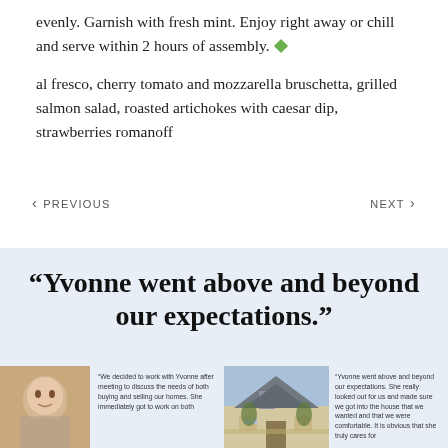evenly. Garnish with fresh mint. Enjoy right away or chill and serve within 2 hours of assembly. ♦
al fresco, cherry tomato and mozzarella bruschetta, grilled salmon salad, roasted artichokes with caesar dip, strawberries romanoff
< PREVIOUS    NEXT >
“Yvonne went above and beyond our expectations.”
“We decided to work with Yvonne after meeting to discuss the needs of both buying and selling our homes. She immediately got to work on both
“Yvonne went above and beyond our expectations. She really looked out for us and made sure we got into the house that we wanted and that we were comfortable. It is obvious that she truly cares for